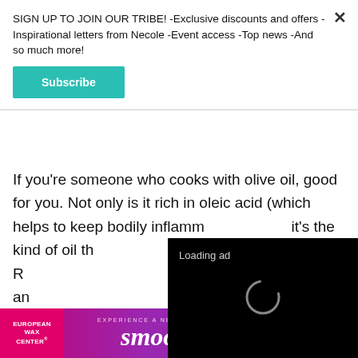SIGN UP TO JOIN OUR TRIBE! -Exclusive discounts and offers -Inspirational letters from Necole -Event access -Top news -And so much more!
Subscribe
If you're someone who cooks with olive oil, good for you. Not only is it rich in oleic acid (which helps to keep bodily inflamm... it's the kind of oil th... of having a stroke. R... antibacterial and an... the ability to keep y...
[Figure (screenshot): Video player overlay showing 'Loading ad' text, a spinning loader icon, and playback controls (pause, expand, mute) on a black background]
[Figure (infographic): European Wax Center advertisement with pink-purple gradient background showing 'Experience a New State of smooth' and 'First Wax Free - Book Now']